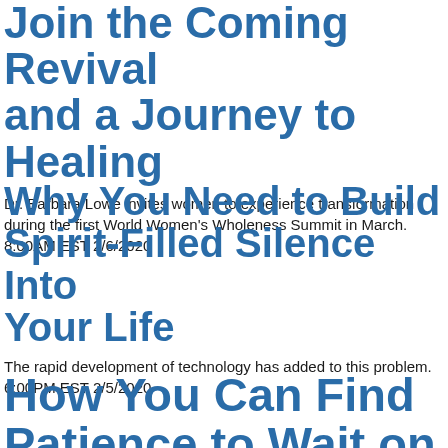Join the Coming Revival and a Journey to Healing
Dr. Barbara Lowe invites women to experience transformation during the first World Women's Wholeness Summit in March. 8:00AM EST 2/6/2020
Why You Need to Build Spirit-Filled Silence Into Your Life
The rapid development of technology has added to this problem. 6:00PM EST 2/5/2020
How You Can Find Patience to Wait on God to